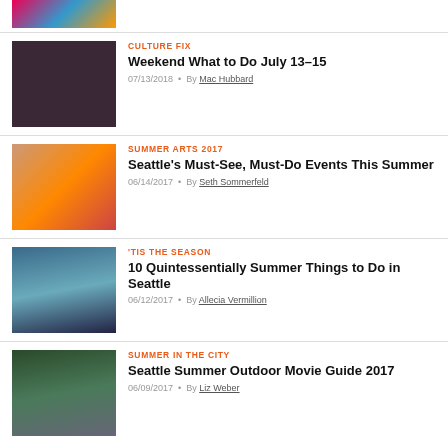[Figure (photo): Top partial image strip, colorful]
[Figure (photo): Dark purple/maroon square thumbnail]
CULTURE FIX
Weekend What to Do July 13–15
07/13/2018 · By Mac Hubbard
[Figure (photo): Art gallery with colorful paintings and person in red]
SUMMER ARTS 2017
Seattle's Must-See, Must-Do Events This Summer
06/14/2017 · By Seth Sommerfeld
[Figure (photo): Aerial view of people kayaking on lake with Seattle skyline]
'TIS THE SEASON
10 Quintessentially Summer Things to Do in Seattle
06/12/2017 · By Allecia Vermillion
[Figure (photo): Outdoor movie screening with crowd on grass at night]
SUMMER IN THE CITY
Seattle Summer Outdoor Movie Guide 2017
06/09/2017 · By Liz Weber